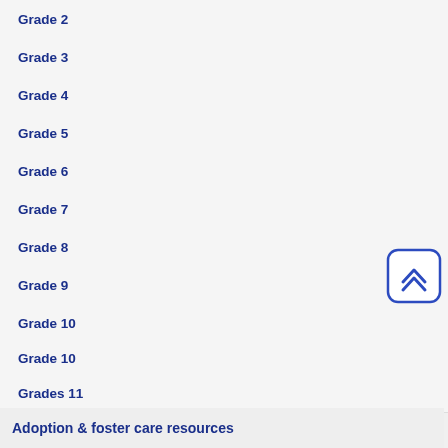Grade 2
Grade 3
Grade 4
Grade 5
Grade 6
Grade 7
Grade 8
Grade 9
Grade 10
Grade 10
Grades 11
Adoption & foster care resources
Finding research
Citation help